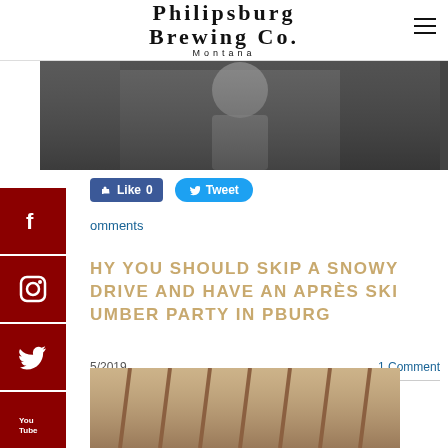PHILIPSBURG BREWING CO. MONTANA
[Figure (photo): Person in white t-shirt leaning over in a brewery setting, dark background]
Like 0   Tweet
omments
HY YOU SHOULD SKIP A SNOWY DRIVE AND HAVE AN APRÈS SKI UMBER PARTY IN PBURG
5/2019   1 Comment
[Figure (photo): Interior photo showing wooden staircase railing in a building]